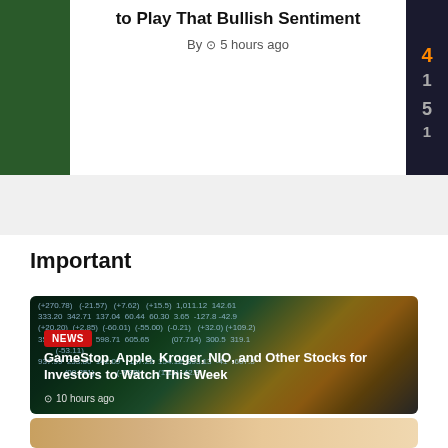to Play That Bullish Sentiment
By  🕐 5 hours ago
Important
[Figure (photo): Stock market ticker board with financial data numbers overlay and an upward trending chart, with NEWS badge overlay]
GameStop, Apple, Kroger, NIO, and Other Stocks for Investors to Watch This Week
🕐 10 hours ago
[Figure (photo): Partial view of another article image at the bottom of the page]